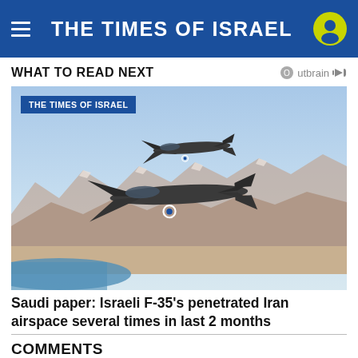THE TIMES OF ISRAEL
WHAT TO READ NEXT
[Figure (photo): Two Israeli Air Force F-35 stealth fighter jets flying over mountainous desert terrain with a body of water visible in the background. A blue banner overlay reads THE TIMES OF ISRAEL.]
Saudi paper: Israeli F-35's penetrated Iran airspace several times in last 2 months
COMMENTS